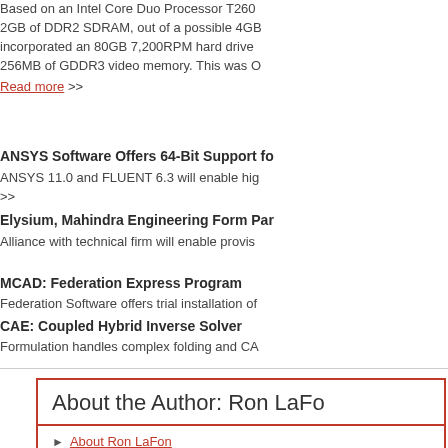Based on an Intel Core Duo Processor T260 2GB of DDR2 SDRAM, out of a possible 4GB incorporated an 80GB 7,200RPM hard drive 256MB of GDDR3 video memory. This was O
Read more >>
ANSYS Software Offers 64-Bit Support fo
ANSYS 11.0 and FLUENT 6.3 will enable hig >>
Elysium, Mahindra Engineering Form Par
Alliance with technical firm will enable provis
MCAD: Federation Express Program
Federation Software offers trial installation of
CAE: Coupled Hybrid Inverse Solver
Formulation handles complex folding and CA
About the Author: Ron LaFo
About Ron LaFon
See contents by Ron LaFon